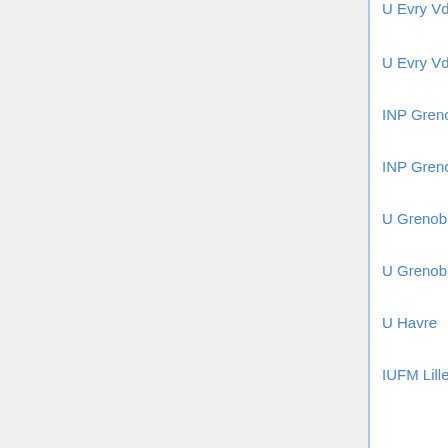U Evry VdE — biomath (m26)
U Evry VdE — finance (m26)
INP Grenoble — finance (m26)
INP Grenoble — sci comp (m26)
U Grenoble 1 — biomath (m26/27)
U Grenoble 2 — applied stat (m26)
U Havre — diff eq (m25/26)
IUFM Lille — education (m25/26)
U Lille 1 — anal/cx geom (m25)
U Lille 1 — arith/alg geom (m25)
U Lille 1 — numer anal (m26)
U Lille 1 — prob/stat (m26)
U Lille 3 — math econ (m26)
U Lyon 2 — applied/stat/cs (m26/27)
EGI Marseille — sci comp/fluids (m26/60)